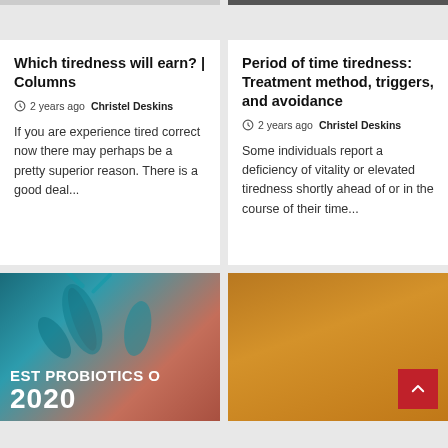Which tiredness will earn? | Columns
2 years ago Christel Deskins
If you are experience tired correct now there may perhaps be a pretty superior reason. There is a good deal...
Period of time tiredness: Treatment method, triggers, and avoidance
2 years ago Christel Deskins
Some individuals report a deficiency of vitality or elevated tiredness shortly ahead of or in the course of their time...
[Figure (photo): Blue-tinted microscopic bacteria/microbes with text overlay 'BEST PROBIOTICS OF 2020']
[Figure (photo): Person in mustard yellow sweater with arms crossed, with red scroll-to-top button overlay]